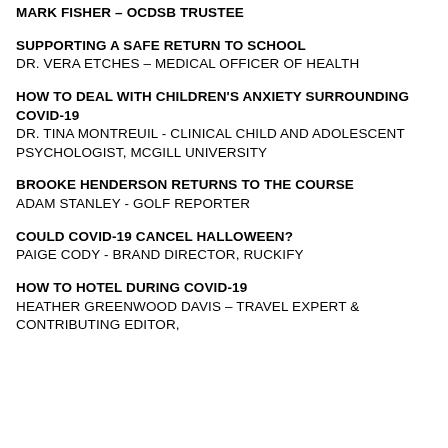MARK FISHER – OCDSB TRUSTEE
SUPPORTING A SAFE RETURN TO SCHOOL
DR. VERA ETCHES – MEDICAL OFFICER OF HEALTH
HOW TO DEAL WITH CHILDREN'S ANXIETY SURROUNDING COVID-19
DR. TINA MONTREUIL - CLINICAL CHILD AND ADOLESCENT PSYCHOLOGIST, MCGILL UNIVERSITY
BROOKE HENDERSON RETURNS TO THE COURSE
ADAM STANLEY - GOLF REPORTER
COULD COVID-19 CANCEL HALLOWEEN?
PAIGE CODY - BRAND DIRECTOR, RUCKIFY
HOW TO HOTEL DURING COVID-19
HEATHER GREENWOOD DAVIS – TRAVEL EXPERT & CONTRIBUTING EDITOR,